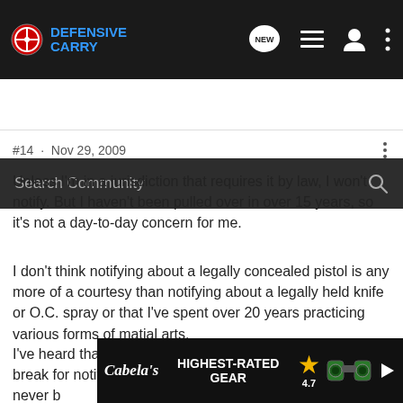[Figure (screenshot): Defensive Carry navigation bar with logo, NEW chat bubble icon, list icon, user icon, and three-dot menu]
[Figure (screenshot): Search Community search bar with magnifying glass icon]
#14 · Nov 29, 2009
Unless I'm in a jurisdiction that requires it by law, I won't notify. But I haven't been pulled over in over 15 years, so it's not a day-to-day concern for me.
I don't think notifying about a legally concealed pistol is any more of a courtesy than notifying about a legally held knife or O.C. spray or that I've spent over 20 years practicing various forms of matial arts.
I've heard that some LEOs may actually give you a bit of a break for notifying in a traffic stop situation, but that would never b
[Figure (screenshot): Cabela's HIGHEST-RATED GEAR advertisement banner with star rating 4.7 and binoculars image]